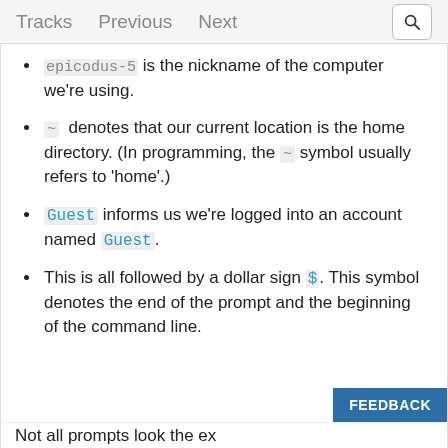Tracks   Previous   Next
epicodus-5 is the nickname of the computer we're using.
~ denotes that our current location is the home directory. (In programming, the ~ symbol usually refers to 'home'.)
Guest informs us we're logged into an account named Guest.
This is all followed by a dollar sign $. This symbol denotes the end of the prompt and the beginning of the command line.
Not all prompts look the ex...